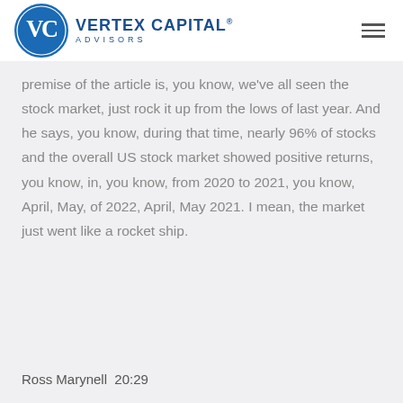[Figure (logo): Vertex Capital Advisors logo with circular VC emblem and text]
premise of the article is, you know, we've all seen the stock market, just rock it up from the lows of last year. And he says, you know, during that time, nearly 96% of stocks and the overall US stock market showed positive returns, you know, in, you know, from 2020 to 2021, you know, April, May, of 2022, April, May 2021. I mean, the market just went like a rocket ship.
Ross Marynell  20:29